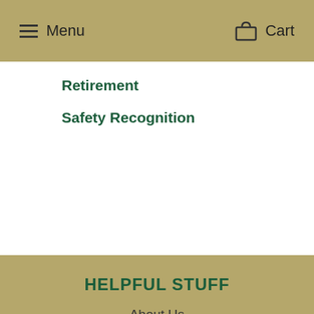Menu  Cart
Retirement
Safety Recognition
HELPFUL STUFF
About Us
Our Services
Frequently Answered Answers
Non-Profit Organizations
Production & Shipping Times
Quote Request Forms
Image Requirements & Fees